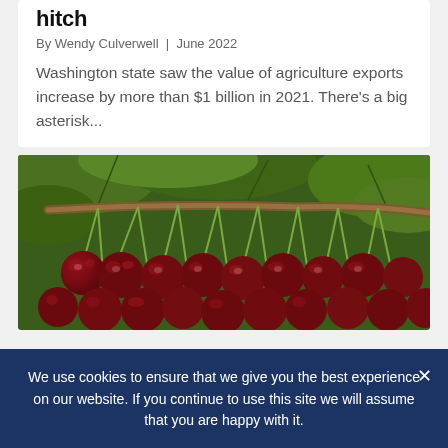hitch
By Wendy Culverwell | June 2022
Washington state saw the value of agriculture exports increase by more than $1 billion in 2021. There's a big asterisk...
[Figure (photo): Close-up photograph of dark red cherries hanging on a branch with green leaves in the background]
We use cookies to ensure that we give you the best experience on our website. If you continue to use this site we will assume that you are happy with it.